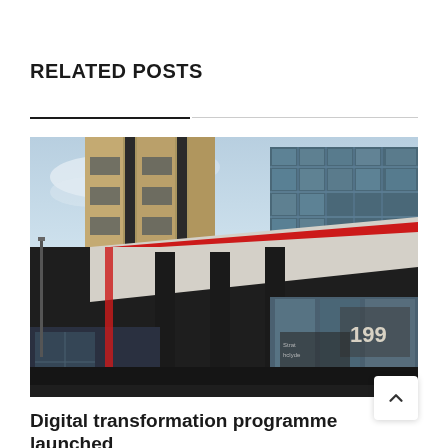RELATED POSTS
[Figure (photo): Exterior photograph of a modern university building (Strathclyde, 199) with glass facades, red chevron architectural detail, dark columns, and a golden/cream panelled tower block against a blue sky.]
Digital transformation programme launched